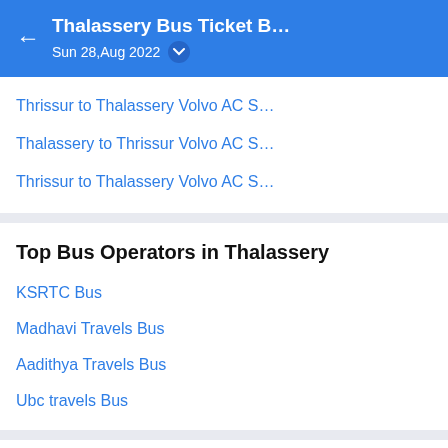Thalassery Bus Ticket B… Sun 28,Aug 2022
Thrissur to Thalassery Volvo AC S…
Thalassery to Thrissur Volvo AC S…
Thrissur to Thalassery Volvo AC S…
Top Bus Operators in Thalassery
KSRTC Bus
Madhavi Travels Bus
Aadithya Travels Bus
Ubc travels Bus
Top Bus Operators from Thalassery